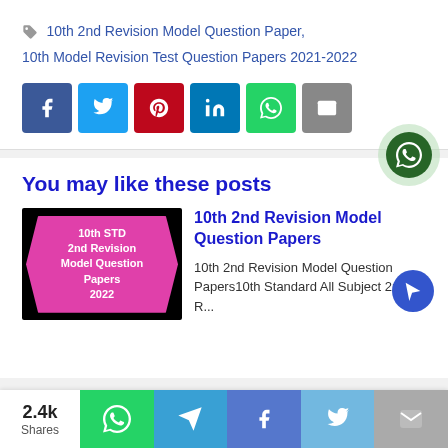10th 2nd Revision Model Question Paper, 10th Model Revision Test Question Papers 2021-2022
[Figure (infographic): Social sharing buttons: Facebook (blue), Twitter (light blue), Pinterest (red), LinkedIn (dark blue), WhatsApp (green), Email (gray)]
You may like these posts
[Figure (photo): Thumbnail image with pink badge on black background reading: 10th STD 2nd Revision Model Question Papers 2022]
10th 2nd Revision Model Question Papers
10th 2nd Revision Model Question Papers10th Standard All Subject 2nd R...
[Figure (infographic): WhatsApp floating button circle]
[Figure (infographic): Cursor/pointer floating action button]
2.4k Shares — bottom share bar with WhatsApp, Telegram, Facebook, Twitter, Email buttons